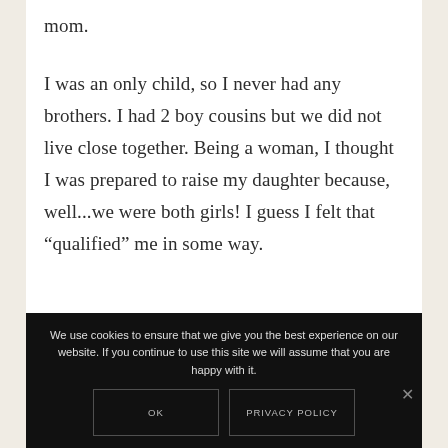mom.
I was an only child, so I never had any brothers. I had 2 boy cousins but we did not live close together. Being a woman, I thought I was prepared to raise my daughter because, well...we were both girls! I guess I felt that “qualified” me in some way.
We use cookies to ensure that we give you the best experience on our website. If you continue to use this site we will assume that you are happy with it.
OK
PRIVACY POLICY